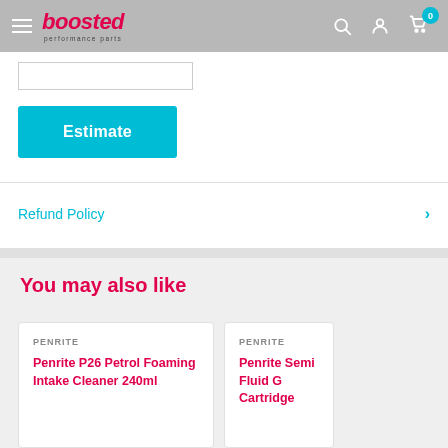boosted performance parts — header navigation
[Figure (screenshot): Input text field (postal/zip code entry box)]
Estimate
Refund Policy
You may also like
PENRITE
Penrite P26 Petrol Foaming Intake Cleaner 240ml
PENRITE
Penrite Semi Fluid G Cartridge